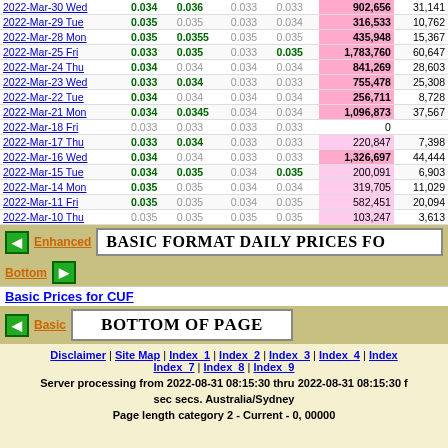| Date | Open | High | Low | Close | Volume | Value |
| --- | --- | --- | --- | --- | --- | --- |
| 2022-Mar-30 Wed | 0.034 | 0.036 | 0.033 | 0.033 | 902,656 | 31,141 |
| 2022-Mar-29 Tue | 0.035 | 0.035 | 0.033 | 0.034 | 316,533 | 10,762 |
| 2022-Mar-28 Mon | 0.035 | 0.0355 | 0.035 | 0.035 | 435,948 | 15,367 |
| 2022-Mar-25 Fri | 0.033 | 0.035 | 0.033 | 0.035 | 1,783,760 | 60,647 |
| 2022-Mar-24 Thu | 0.034 | 0.034 | 0.034 | 0.034 | 841,269 | 28,603 |
| 2022-Mar-23 Wed | 0.033 | 0.034 | 0.033 | 0.033 | 755,478 | 25,308 |
| 2022-Mar-22 Tue | 0.034 | 0.034 | 0.034 | 0.034 | 256,711 | 8,728 |
| 2022-Mar-21 Mon | 0.034 | 0.0345 | 0.034 | 0.034 | 1,096,873 | 37,567 |
| 2022-Mar-18 Fri | 0.033 | 0.033 | 0.033 | 0.033 | 0 |  |
| 2022-Mar-17 Thu | 0.033 | 0.034 | 0.033 | 0.033 | 220,847 | 7,398 |
| 2022-Mar-16 Wed | 0.034 | 0.034 | 0.033 | 0.033 | 1,326,697 | 44,444 |
| 2022-Mar-15 Tue | 0.034 | 0.035 | 0.034 | 0.035 | 200,091 | 6,903 |
| 2022-Mar-14 Mon | 0.035 | 0.035 | 0.034 | 0.034 | 319,705 | 11,029 |
| 2022-Mar-11 Fri | 0.035 | 0.035 | 0.034 | 0.035 | 582,451 | 20,094 |
| 2022-Mar-10 Thu | 0.035 | 0.035 | 0.035 | 0.035 | 103,247 | 3,613 |
Basic Format Daily Prices fo...
Basic Prices for CUF
Bottom of Page
Disclaimer | Site Map | Index_1 | Index_2 | Index_3 | Index_4 | Index... | Index_7 | Index_8 | Index_9
Server processing from 2022-08-31 08:15:30 thru 2022-08-31 08:15:30 f... sec secs. Australia/Sydney
Page length category 2 - Current - 0, 00000